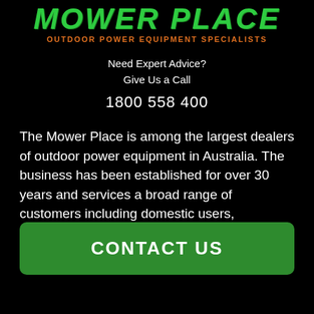[Figure (logo): Mower Place logo — large green italic text 'MOWER PLACE' with orange subtitle 'OUTDOOR POWER EQUIPMENT SPECIALISTS']
Need Expert Advice?
Give Us a Call
1800 558 400
The Mower Place is among the largest dealers of outdoor power equipment in Australia. The business has been established for over 30 years and services a broad range of customers including domestic users, professional contractors, commercial users and Government institutions.
CONTACT US